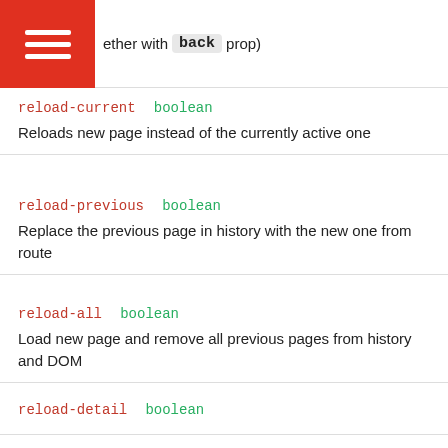ether with back prop)
reload-current   boolean
Reloads new page instead of the currently active one
reload-previous   boolean
Replace the previous page in history with the new one from route
reload-all   boolean
Load new page and remove all previous pages from history and DOM
reload-detail   boolean
Reload Detail page in Master Detail view
animate   boolean
Disables pages animation
transition   string